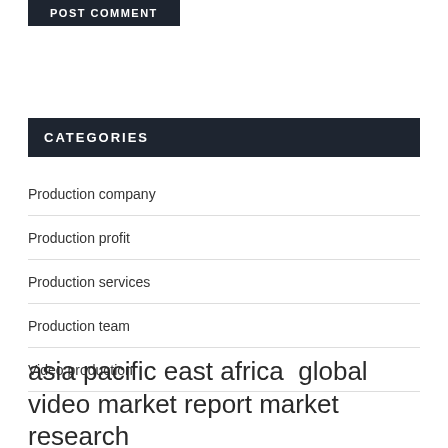POST COMMENT
CATEGORIES
Production company
Production profit
Production services
Production team
Video production
asia pacific east africa global video market report market research